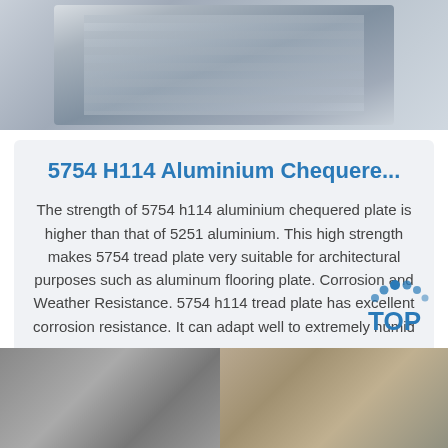[Figure (photo): Photo of shiny aluminium/metal sheet surface, partially cropped at top of page]
5754 H114 Aluminium Chequere...
The strength of 5754 h114 aluminium chequered plate is higher than that of 5251 aluminium. This high strength makes 5754 tread plate very suitable for architectural purposes such as aluminum flooring plate. Corrosion and Weather Resistance. 5754 h114 tread plate has excellent corrosion resistance. It can adapt well to extremely humid ...
Get Price
[Figure (photo): Photo of metal/aluminium plates and wooden strips on floor, bottom of page]
[Figure (logo): TOP logo with dot arc above the text, blue dots and blue TOP text]